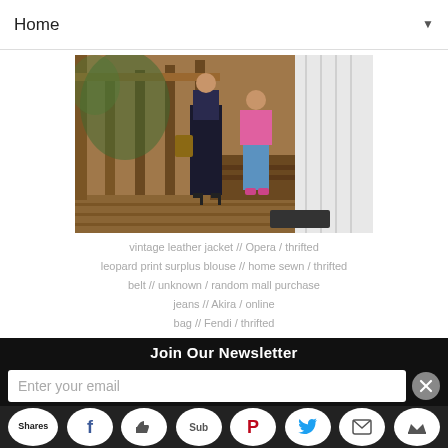Home
[Figure (photo): Two people standing on a wooden porch/deck, one wearing jeans and a pink jacket, seen from behind.]
vintage leather jacket // Opera / thrifted
leopard print surplus blouse // home sewn / thrifted
belt // unknown / random mall purchase
jeans // Akira / online
bag // Fendi / thrifted
ostrich pumps // Banana Republic / thrifted
Thriftanista in the City on September 27, 2012
28 COMMENTS
Join Our Newsletter
Enter your email